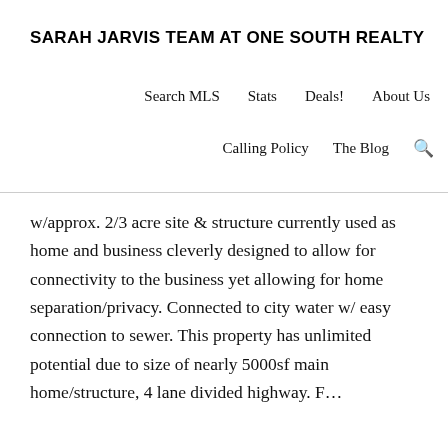SARAH JARVIS TEAM AT ONE SOUTH REALTY
Search MLS   Stats   Deals!   About Us
Calling Policy   The Blog   🔍
w/approx. 2/3 acre site & structure currently used as home and business cleverly designed to allow for connectivity to the business yet allowing for home separation/privacy. Connected to city water w/ easy connection to sewer. This property has unlimited potential due to size of nearly 5000sf main home/structure, 4 lane divided highway. F…